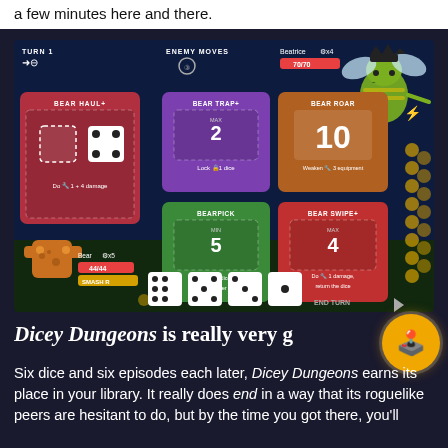a few minutes here and there.
[Figure (screenshot): Screenshot of Dicey Dungeons game showing a battle encounter. Turn 1 vs Bear enemy. Cards shown: BEAR HAUL+, BEAR TRAP+, BEAR ROAR, BEARPICK, BEAR SWIPE+. Bear HP 44/44, Beatrice HP 70/70. Dice row visible at bottom.]
Dicey Dungeons is really very g…
Six dice and six episodes each later, Dicey Dungeons earns its place in your library. It really does end in a way that its roguelike peers are hesitant to do, but by the time you got there, you'll